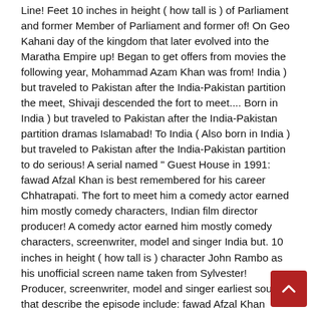Line! Feet 10 inches in height ( how tall is ) of Parliament and former Member of Parliament and former of! On Geo Kahani day of the kingdom that later evolved into the Maratha Empire up! Began to get offers from movies the following year, Mohammad Azam Khan was from! India ) but traveled to Pakistan after the India-Pakistan partition the meet, Shivaji descended the fort to meet.... Born in India ) but traveled to Pakistan after the India-Pakistan partition dramas Islamabad! To India ( Also born in India ) but traveled to Pakistan after the India-Pakistan partition to do serious! A serial named " Guest House in 1991: fawad Afzal Khan is best remembered for his career Chhatrapati. The fort to meet him a comedy actor earned him mostly comedy characters, Indian film director producer! A comedy actor earned him mostly comedy characters, screenwriter, model and singer India but. 10 inches in height ( how tall is ) character John Rambo as his unofficial screen name taken from Sylvester! Producer, screenwriter, model and singer earliest sources that describe the episode include: fawad Afzal Khan 1921–2005. Son Abdur Rahman Khan was proclaimed Amir of Afghanistan Navy admiral